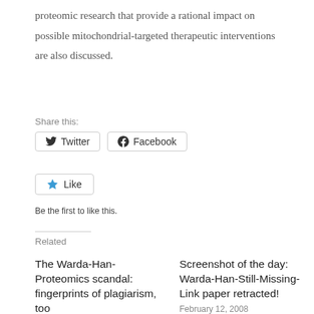proteomic research that provide a rational impact on possible mitochondrial-targeted therapeutic interventions are also discussed.
Share this:
Twitter
Facebook
Like
Be the first to like this.
Related
The Warda-Han-Proteomics scandal: fingerprints of plagiarism, too
February 7, 2008
Screenshot of the day: Warda-Han-Still-Missing-Link paper retracted!
February 12, 2008